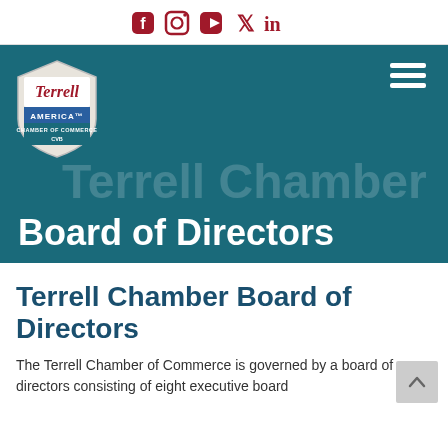Social media icons: Facebook, Instagram, YouTube, Twitter, LinkedIn
[Figure (logo): Terrell America Chamber of Commerce CVB logo badge - shield shape with red Terrell script text, blue bar with AMERICA, and teal bar with CHAMBER OF COMMERCE CVB]
[Figure (other): Hamburger menu icon (three horizontal white lines) on teal background]
Terrell Chamber Board of Directors
Terrell Chamber Board of Directors
The Terrell Chamber of Commerce is governed by a board of directors consisting of eight executive board